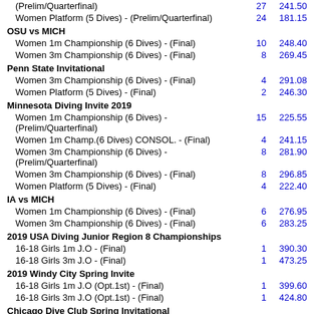(Prelim/Quarterfinal) — 27  241.50
Women Platform (5 Dives) - (Prelim/Quarterfinal) — 24  181.15
OSU vs MICH
Women 1m Championship (6 Dives) - (Final) — 10  248.40
Women 3m Championship (6 Dives) - (Final) — 8  269.45
Penn State Invitational
Women 3m Championship (6 Dives) - (Final) — 4  291.08
Women Platform (5 Dives) - (Final) — 2  246.30
Minnesota Diving Invite 2019
Women 1m Championship (6 Dives) - (Prelim/Quarterfinal) — 15  225.55
Women 1m Champ.(6 Dives) CONSOL. - (Final) — 4  241.15
Women 3m Championship (6 Dives) - (Prelim/Quarterfinal) — 8  281.90
Women 3m Championship (6 Dives) - (Final) — 8  296.85
Women Platform (5 Dives) - (Final) — 4  222.40
IA vs MICH
Women 1m Championship (6 Dives) - (Final) — 6  276.95
Women 3m Championship (6 Dives) - (Final) — 6  283.25
2019 USA Diving Junior Region 8 Championships
16-18 Girls 1m J.O - (Final) — 1  390.30
16-18 Girls 3m J.O - (Final) — 1  473.25
2019 Windy City Spring Invite
16-18 Girls 1m J.O (Opt.1st) - (Final) — 1  399.60
16-18 Girls 3m J.O (Opt.1st) - (Final) — 1  424.80
Chicago Dive Club Spring Invitational
16-18 Girls 1m J.O - (Final) — 1  410.85
16-18 Girls 3m J.O - (Final) — 3  389.50
16-18 Girls Platform J.O - (Final) — 1  335.00